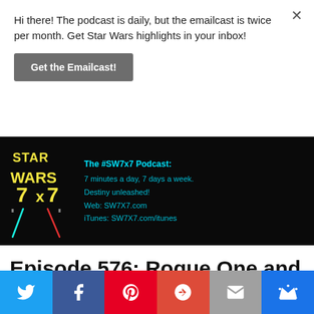Hi there! The podcast is daily, but the emailcast is twice per month. Get Star Wars highlights in your inbox!
Get the Emailcast!
[Figure (logo): Star Wars 7x7 podcast banner with yellow logo text and cyan text: The #SW7x7 Podcast: 7 minutes a day, 7 days a week. Destiny unleashed! Web: SW7X7.com iTunes: SW7X7.com/itunes]
Episode 576: Rogue One and Episode VIII Weekly Update
[Figure (infographic): Social share bar with Twitter, Facebook, Pinterest, Google+, Email, and crown/subscribe icons]